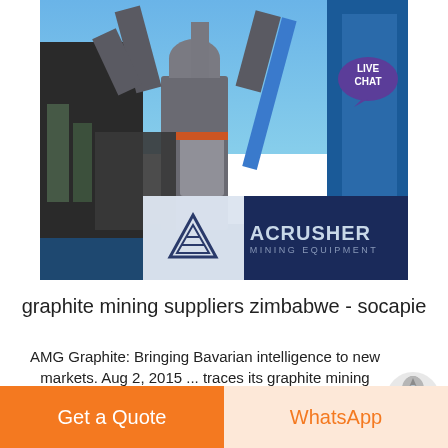[Figure (photo): Industrial mining mill equipment with large pipes and cylindrical structure against a blue sky, with ACrusher Mining Equipment logo overlay in lower portion of image]
graphite mining suppliers zimbabwe - socapie
AMG Graphite: Bringing Bavarian intelligence to new markets. Aug 2, 2015 ... traces its graphite mining routes in Bavaria back over 100 .... AMG Graphite has asupply agreement with the Lynx
Get a Quote
WhatsApp